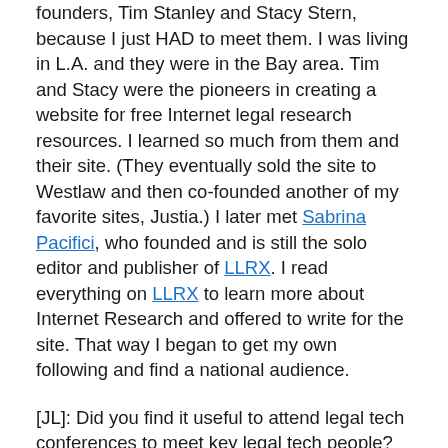founders, Tim Stanley and Stacy Stern, because I just HAD to meet them. I was living in L.A. and they were in the Bay area. Tim and Stacy were the pioneers in creating a website for free Internet legal research resources. I learned so much from them and their site. (They eventually sold the site to Westlaw and then co-founded another of my favorite sites, Justia.) I later met Sabrina Pacifici, who founded and is still the solo editor and publisher of LLRX. I read everything on LLRX to learn more about Internet Research and offered to write for the site. That way I began to get my own following and find a national audience.
[JL]: Did you find it useful to attend legal tech conferences to meet key legal tech people?
[CL]: Yes. That was my next step. I attended Legal Tech